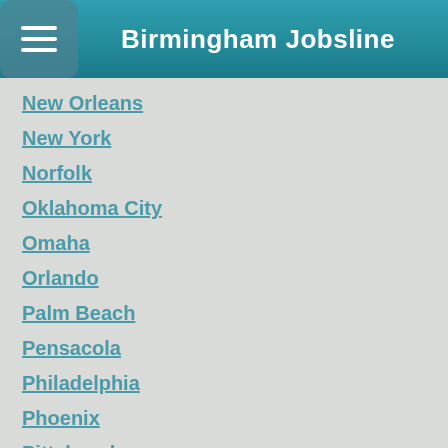Birmingham Jobsline
New Orleans
New York
Norfolk
Oklahoma City
Omaha
Orlando
Palm Beach
Pensacola
Philadelphia
Phoenix
Pittsburgh
Portland